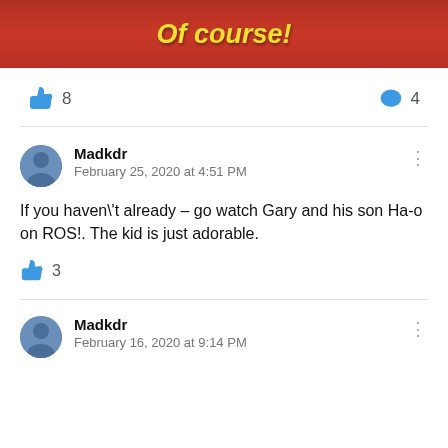[Figure (photo): Screenshot of a social media image with red background and yellow bold text reading 'Of course!']
8 likes, 4 comments
Madkdr
February 25, 2020 at 4:51 PM

If you haven\'t already – go watch Gary and his son Ha-o on ROS!. The kid is just adorable.

3 likes
Madkdr
February 16, 2020 at 9:14 PM